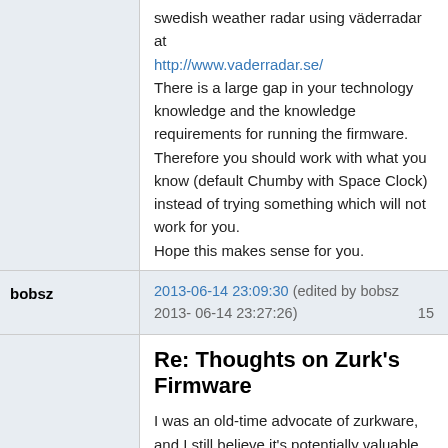swedish weather radar using väderradar at http://www.vaderradar.se/ There is a large gap in your technology knowledge and the knowledge requirements for running the firmware. Therefore you should work with what you know (default Chumby with Space Clock) instead of trying something which will not work for you. Hope this makes sense for you.
bobsz
2013-06-14 23:09:30 (edited by bobsz 2013-06-14 23:27:26)
Re: Thoughts on Zurk's Firmware
I was an old-time advocate of zurkware, and I still believe it's potentially valuable. The problem for me now is that the documentation is so fragmented, because zurk's made basic changes to the architecture over the versions. Things